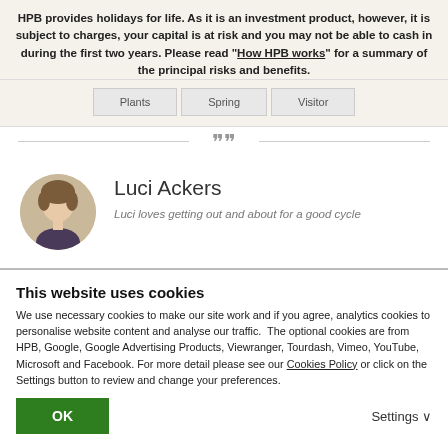HPB provides holidays for life. As it is an investment product, however, it is subject to charges, your capital is at risk and you may not be able to cash in during the first two years. Please read "How HPB works" for a summary of the principal risks and benefits.
| Plants | Spring | Visitor |
[Figure (illustration): Decorative ornamental divider with swirled flourish design]
[Figure (photo): Circular profile photo of Luci Ackers]
Luci Ackers
Luci loves getting out and about for a good cycle
This website uses cookies
We use necessary cookies to make our site work and if you agree, analytics cookies to personalise website content and analyse our traffic.  The optional cookies are from HPB, Google, Google Advertising Products, Viewranger, Tourdash, Vimeo, YouTube, Microsoft and Facebook. For more detail please see our Cookies Policy or click on the Settings button to review and change your preferences.
OK
Settings